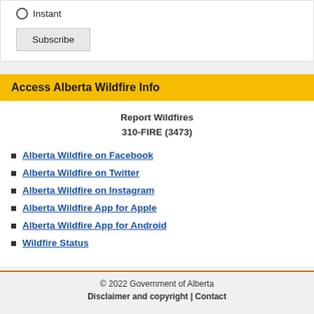Instant
Subscribe
Access Alberta Wildfire Info
Report Wildfires
310-FIRE (3473)
Alberta Wildfire on Facebook
Alberta Wildfire on Twitter
Alberta Wildfire on Instagram
Alberta Wildfire App for Apple
Alberta Wildfire App for Android
Wildfire Status
© 2022 Government of Alberta
Disclaimer and copyright | Contact